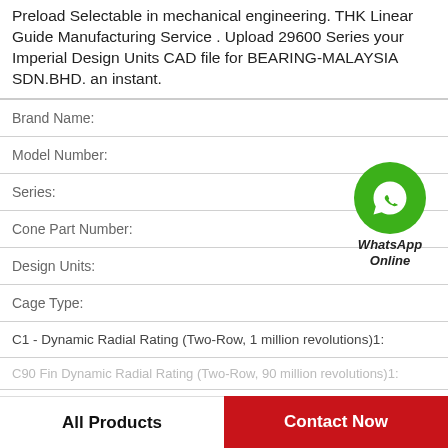Preload Selectable in mechanical engineering. THK Linear Guide Manufacturing Service . Upload 29600 Series your Imperial Design Units CAD file for BEARING-MALAYSIA SDN.BHD. an instant.
| Field | Value |
| --- | --- |
| Brand Name: |  |
| Model Number: |  |
| Series: |  |
| Cone Part Number: |  |
| Design Units: |  |
| Cage Type: |  |
| C1 - Dynamic Radial Rating (Two-Row, 1 million revolutions)1: |  |
| C90 - Dynamic Radial Rating (Two-Row, 90 million revolutions)1: |  |
[Figure (logo): WhatsApp Online contact button — green circle with phone handset icon, text 'WhatsApp Online' below]
All Products
Contact Now